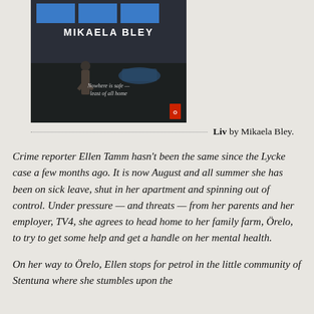[Figure (illustration): Book cover of 'Liv' by Mikaela Bley showing a woman in a coat standing in a dark field with a car in the background. The cover text reads 'MIKAELA BLEY' at the top and 'Nowhere is safe — least of all home' in the center.]
Liv by Mikaela Bley.
Crime reporter Ellen Tamm hasn't been the same since the Lycke case a few months ago. It is now August and all summer she has been on sick leave, shut in her apartment and spinning out of control. Under pressure — and threats — from her parents and her employer, TV4, she agrees to head home to her family farm, Örelo, to try to get some help and get a handle on her mental health.
On her way to Örelo, Ellen stops for petrol in the little community of Stentuna where she stumbles upon the